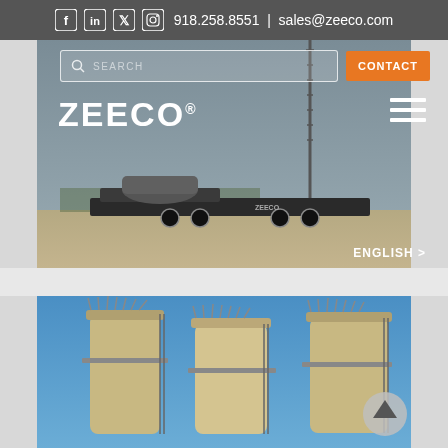918.258.8551 | sales@zeeco.com
[Figure (screenshot): Zeeco website hero section showing a search bar, CONTACT button, ZEECO logo, hamburger menu, and a background photo of industrial equipment on a trailer in a field. ENGLISH language selector visible at bottom right.]
[Figure (photo): Three tall industrial cylindrical towers/flare stacks with burner heads at top, photographed against a blue sky. A circular scroll-up arrow button is overlaid at bottom right.]